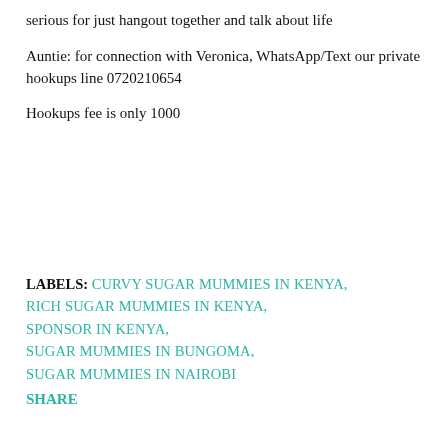serious for just hangout together and talk about life
Auntie: for connection with Veronica, WhatsApp/Text our private hookups line 0720210654
Hookups fee is only 1000
LABELS: CURVY SUGAR MUMMIES IN KENYA, RICH SUGAR MUMMIES IN KENYA, SPONSOR IN KENYA, SUGAR MUMMIES IN BUNGOMA, SUGAR MUMMIES IN NAIROBI
SHARE